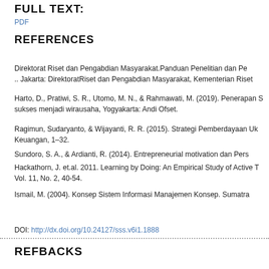FULL TEXT:
PDF
REFERENCES
Direktorat Riset dan Pengabdian Masyarakat.Panduan Penelitian dan Pe.. Jakarta: DirektoratRiset dan Pengabdian Masyarakat, Kementerian Riset
Harto, D., Pratiwi, S. R., Utomo, M. N., & Rahmawati, M. (2019). Penerapan S sukses menjadi wirausaha, Yogyakarta: Andi Ofset.
Ragimun, Sudaryanto, & Wijayanti, R. R. (2015). Strategi Pemberdayaan Uk Keuangan, 1–32.
Sundoro, S. A., & Ardianti, R. (2014). Entrepreneurial motivation dan Pers
Hackathorn, J. et.al. 2011. Learning by Doing: An Empirical Study of Active T Vol. 11, No. 2, 40-54.
Ismail, M. (2004). Konsep Sistem Informasi Manajemen Konsep. Sumatra
DOI: http://dx.doi.org/10.24127/sss.v6i1.1888
REFBACKS